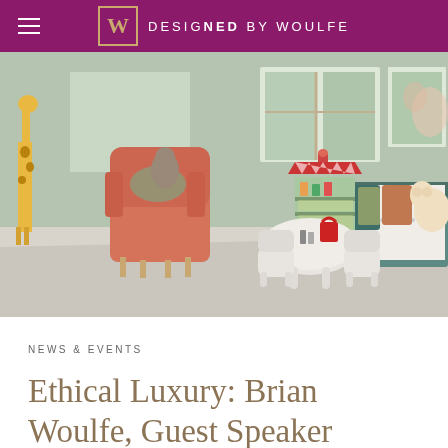DESIGNED BY WOULFE
[Figure (photo): Children's playroom with sage green walls, orange armchair with stuffed animals, giraffe toy, small white table and chairs, a toy market stall, and a daybed with colorful pillows and teddy bear.]
NEWS & EVENTS
Ethical Luxury: Brian Woulfe, Guest Speaker